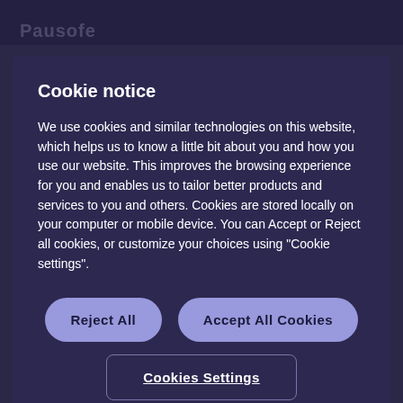Pausofe
Cookie notice
We use cookies and similar technologies on this website, which helps us to know a little bit about you and how you use our website. This improves the browsing experience for you and enables us to tailor better products and services to you and others. Cookies are stored locally on your computer or mobile device. You can Accept or Reject all cookies, or customize your choices using "Cookie settings".
Reject All
Accept All Cookies
Cookies Settings
mean this isn't being factored into gas station owners' considerations.
And the idea that petroleum will never be a fuel source is a ridiculous oversimplification. Thus, gas stations that provide